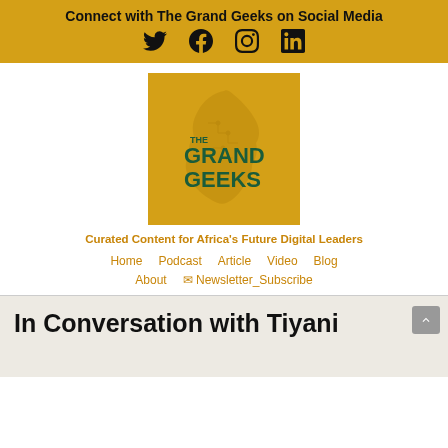Connect with The Grand Geeks on Social Media
[Figure (logo): The Grand Geeks logo: golden background with Africa continent outline and text THE GRAND GEEKS in dark teal]
Curated Content for Africa's Future Digital Leaders
Home   Podcast   Article   Video   Blog
About   Newsletter_Subscribe
In Conversation with Tiyani